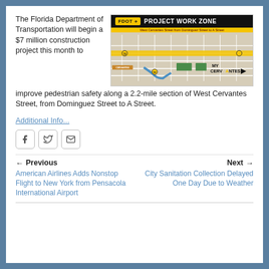The Florida Department of Transportation will begin a $7 million construction project this month to improve pedestrian safety along a 2.2-mile section of West Cervantes Street, from Dominguez Street to A Street.
[Figure (map): FDOT Project Work Zone map showing West Cervantes Street route from Dominguez Street to A Street, with yellow highlighted road corridor on a street grid map]
Additional Info...
[Figure (other): Social sharing buttons: Facebook, Twitter, Email]
Previous
American Airlines Adds Nonstop Flight to New York from Pensacola International Airport
Next
City Sanitation Collection Delayed One Day Due to Weather